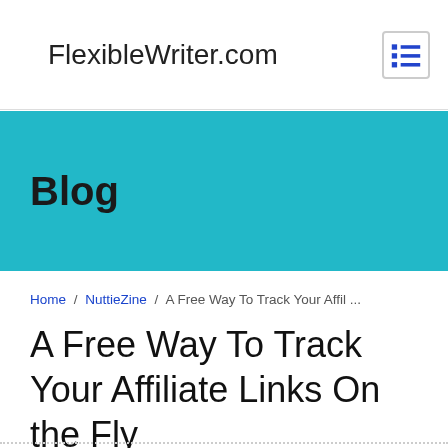FlexibleWriter.com
Blog
Home / NuttieZine / A Free Way To Track Your Affil ...
A Free Way To Track Your Affiliate Links On the Fly